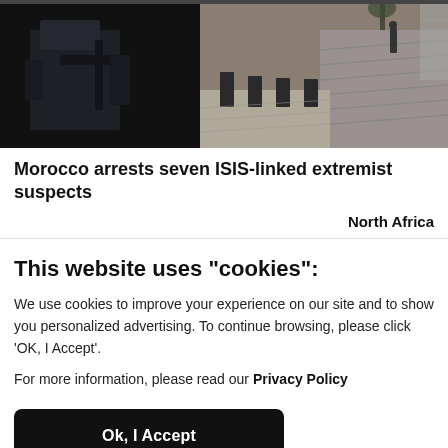[Figure (photo): News article header photo showing armed security/police officers in dark gear on a plaza with steps in the background]
Morocco arrests seven ISIS-linked extremist suspects
North Africa
This website uses "cookies":
We use cookies to improve your experience on our site and to show you personalized advertising. To continue browsing, please click 'OK, I Accept'.
For more information, please read our Privacy Policy
Ok, I Accept